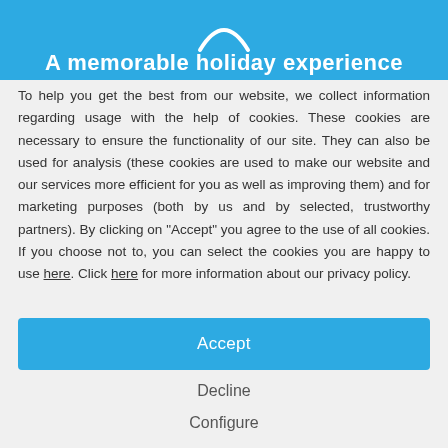[Figure (illustration): Blue banner header with a smiley/logo icon and partial title text 'A memorable holiday experience']
To help you get the best from our website, we collect information regarding usage with the help of cookies. These cookies are necessary to ensure the functionality of our site. They can also be used for analysis (these cookies are used to make our website and our services more efficient for you as well as improving them) and for marketing purposes (both by us and by selected, trustworthy partners). By clicking on "Accept" you agree to the use of all cookies. If you choose not to, you can select the cookies you are happy to use here. Click here for more information about our privacy policy.
Accept
Decline
Configure